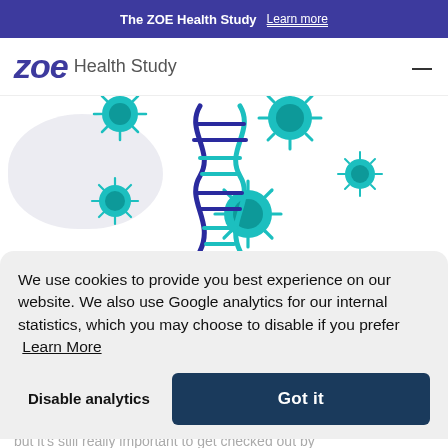The ZOE Health Study  Learn more
zoe Health Study
[Figure (illustration): Illustration of a DNA double helix surrounded by teal/cyan coronavirus particles (spiky spheres) on a light grey background]
We use cookies to provide you best experience on our website. We also use Google analytics for our internal statistics, which you may choose to disable if you prefer  Learn More
Disable analytics   Got it
es, but it's still really important to get checked out by